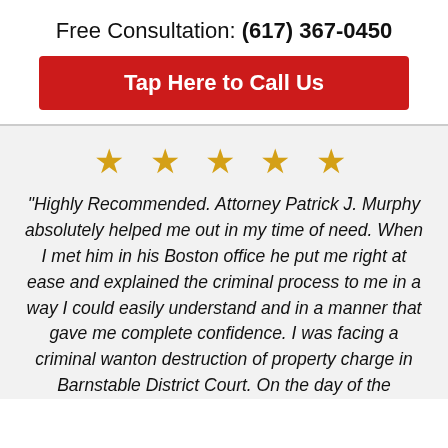Free Consultation: (617) 367-0450
Tap Here to Call Us
[Figure (other): Five gold star rating icons]
"Highly Recommended. Attorney Patrick J. Murphy absolutely helped me out in my time of need. When I met him in his Boston office he put me right at ease and explained the criminal process to me in a way I could easily understand and in a manner that gave me complete confidence. I was facing a criminal wanton destruction of property charge in Barnstable District Court. On the day of the